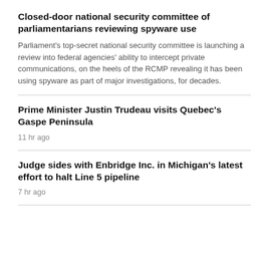Closed-door national security committee of parliamentarians reviewing spyware use
Parliament's top-secret national security committee is launching a review into federal agencies' ability to intercept private communications, on the heels of the RCMP revealing it has been using spyware as part of major investigations, for decades.
Prime Minister Justin Trudeau visits Quebec's Gaspe Peninsula
11 hr ago
Judge sides with Enbridge Inc. in Michigan's latest effort to halt Line 5 pipeline
7 hr ago